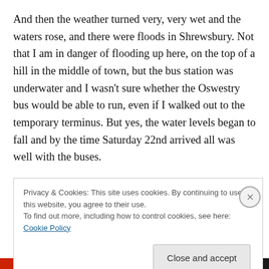And then the weather turned very, very wet and the waters rose, and there were floods in Shrewsbury. Not that I am in danger of flooding up here, on the top of a hill in the middle of town, but the bus station was underwater and I wasn't sure whether the Oswestry bus would be able to run, even if I walked out to the temporary terminus. But yes, the water levels began to fall and by the time Saturday 22nd arrived all was well with the buses.
Tanya is great fun, her work is wonderful: she brought so many hangings and panels I never did get to see them all.
Privacy & Cookies: This site uses cookies. By continuing to use this website, you agree to their use.
To find out more, including how to control cookies, see here: Cookie Policy